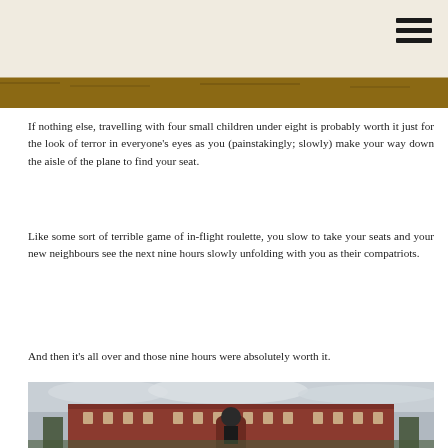[Figure (photo): Top portion of a photo showing a wooden surface or landscape, cropped at the top of the page]
If nothing else, travelling with four small children under eight is probably worth it just for the look of terror in everyone's eyes as you (painstakingly; slowly) make your way down the aisle of the plane to find your seat.
Like some sort of terrible game of in-flight roulette, you slow to take your seats and your new neighbours see the next nine hours slowly unfolding with you as their compatriots.
And then it's all over and those nine hours were absolutely worth it.
[Figure (photo): A man standing in front of a large stately brick mansion (appears to be Wimpole Hall or similar English country house) under a cloudy sky]